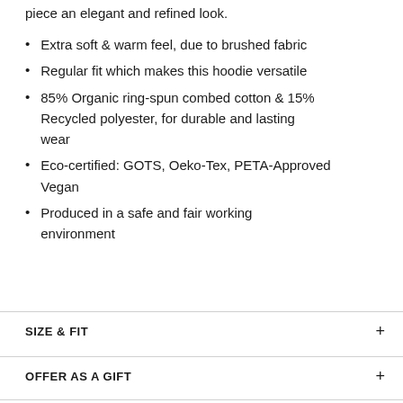piece an elegant and refined look.
Extra soft & warm feel, due to brushed fabric
Regular fit which makes this hoodie versatile
85% Organic ring-spun combed cotton & 15% Recycled polyester, for durable and lasting wear
Eco-certified: GOTS, Oeko-Tex, PETA-Approved Vegan
Produced in a safe and fair working environment
SIZE & FIT
OFFER AS A GIFT